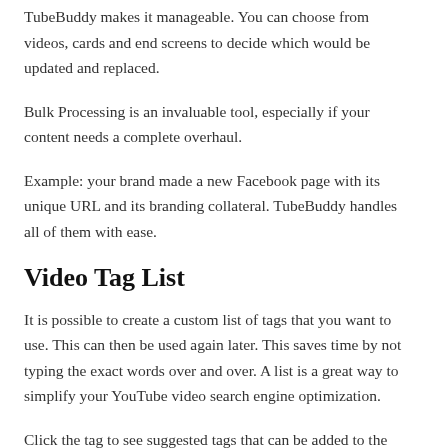TubeBuddy makes it manageable. You can choose from videos, cards and end screens to decide which would be updated and replaced.
Bulk Processing is an invaluable tool, especially if your content needs a complete overhaul.
Example: your brand made a new Facebook page with its unique URL and its branding collateral. TubeBuddy handles all of them with ease.
Video Tag List
It is possible to create a custom list of tags that you want to use. This can then be used again later. This saves time by not typing the exact words over and over. A list is a great way to simplify your YouTube video search engine optimization.
Click the tag to see suggested tags that can be added to the